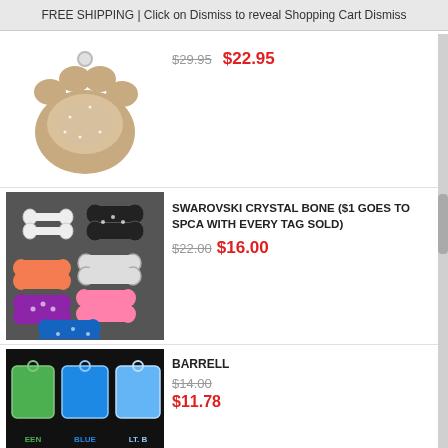FREE SHIPPING | Click on Dismiss to reveal Shopping Cart Dismiss
[Figure (photo): Gold/tan paw print shaped pet ID tag with crystal/glitter design]
$29.95 $22.95
[Figure (photo): Multiple colorful Swarovski crystal bone-shaped pet ID tags in various colors: white, black, orange, purple, pink, hot pink, blue]
SWAROVSKI CRYSTAL BONE ($1 GOES TO SPCA WITH EVERY TAG SOLD)
$22.00 $16.00
[Figure (photo): Barrel/rectangle shaped pet ID tags in green, blue, and light blue colors with text labels GREEN, BLUE, LT. B]
BARRELL
$14.00 $11.78